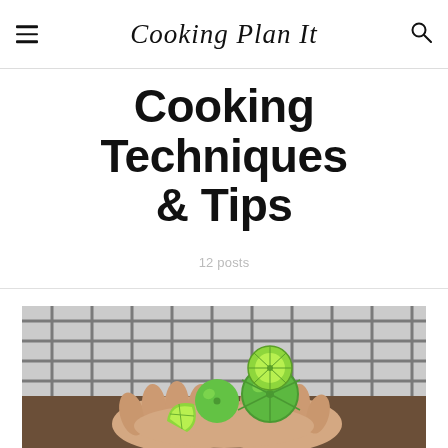Cooking Plan It
Cooking Techniques & Tips
12 posts
[Figure (photo): Person in plaid shirt holding limes and lime slices in cupped hands over a wooden surface]